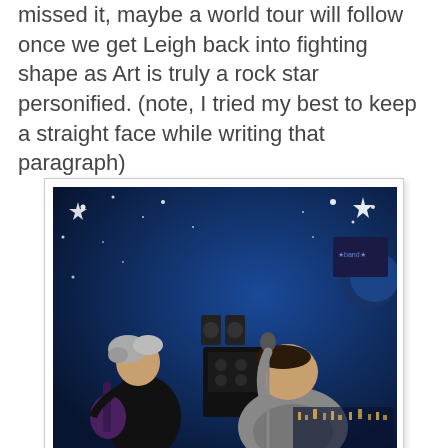missed it, maybe a world tour will follow once we get Leigh back into fighting shape as Art is truly a rock star personified. (note, I tried my best to keep a straight face while writing that paragraph)
[Figure (photo): Two musicians performing on stage. On the left, an older man with wild grey hair playing an electric guitar, wearing a black shirt. On the right, a heavier-set man singing into a microphone, wearing a grey graphic t-shirt. The background shows a blue starry night sky backdrop.]
"Arteste"
I spent the next few minutes bouncing upstairs and downstairs catching part sets by "Shotgun Nun" and "OzGoode" both bands played great and I wished I could have been present completely for both bands. "Skrou" was